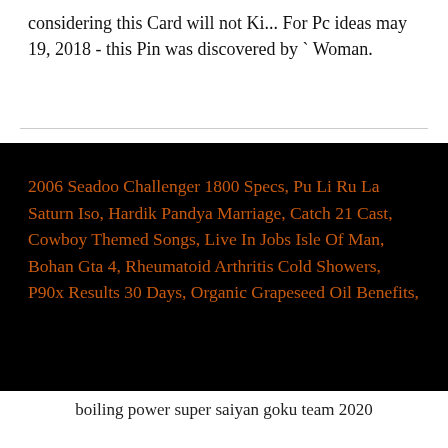considering this Card will not Ki... For Pc ideas may 19, 2018 - this Pin was discovered by ` Woman.
2006 Seadoo Challenger 1800 Specs, Pu Li Ru La Saturn Iso, Hardik Pandya Marriage, Catch 21 Cast, Cowboy Themed Songs, Live In Jobs Isle Of Man, Bohan Gta 4, Rheumatoid Arthritis Cold Showers, P90x Results 30 Days, Organic Grapeseed Oil Benefits,
boiling power super saiyan goku team 2020